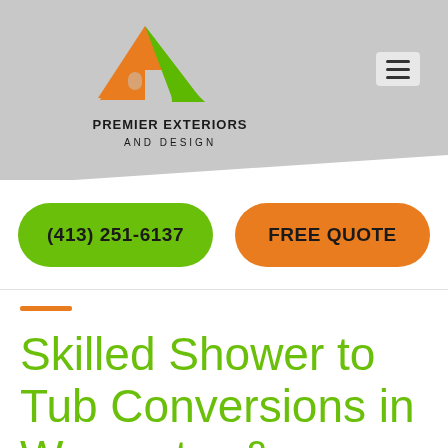[Figure (logo): Premier Exteriors and Design logo: orange and green house/chevron shape above company name text]
Skilled Shower to Tub Conversions in Worcester & Greater...